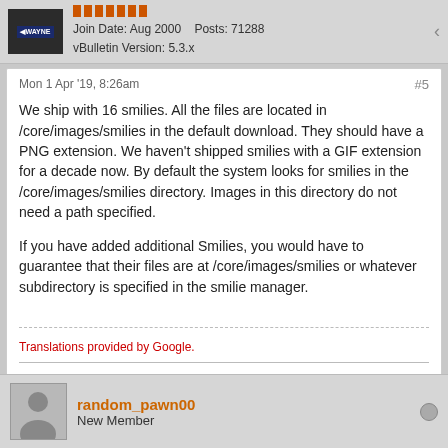Join Date: Aug 2000   Posts: 71288
vBulletin Version: 5.3.x
Mon 1 Apr '19, 8:26am
We ship with 16 smilies. All the files are located in /core/images/smilies in the default download. They should have a PNG extension. We haven't shipped smilies with a GIF extension for a decade now. By default the system looks for smilies in the /core/images/smilies directory. Images in this directory do not need a path specified.
If you have added additional Smilies, you would have to guarantee that their files are at /core/images/smilies or whatever subdirectory is specified in the smilie manager.
Translations provided by Google.
Wayne Luke
The Rabid Badger - a vBulletin Cloud demonstration site.
vBulletin 5 API
random_pawn00
New Member